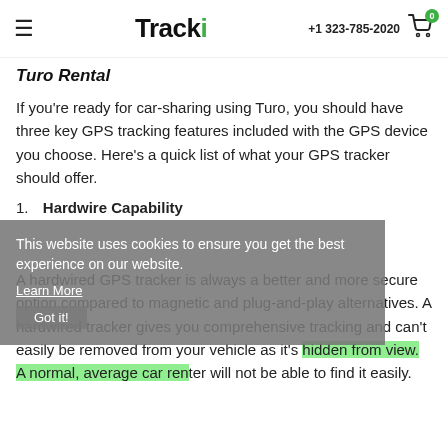Tracki | +1 323-785-2020
Turo Rental
If you're ready for car-sharing using Turo, you should have three key GPS tracking features included with the GPS device you choose. Here's a quick list of what your GPS tracker should offer.
1. Hardwire Capability
A hardwired GPS tracker is always a better and more secure option compared to magnetic and plug-and-play alternatives. A hardwired tracker gives you comprehensive tracking and can't easily be removed from your vehicle as it's hidden from view. A normal, average car renter will not be able to find it easily.